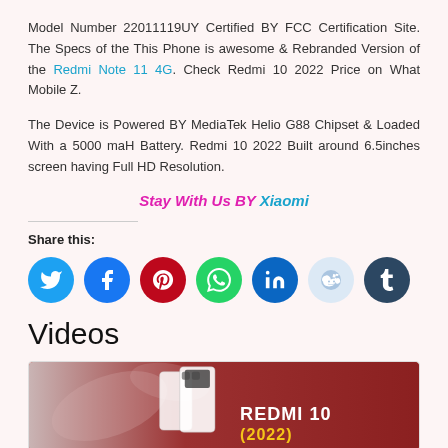Model Number 22011119UY Certified BY FCC Certification Site. The Specs of the This Phone is awesome & Rebranded Version of the Redmi Note 11 4G. Check Redmi 10 2022 Price on What Mobile Z.
The Device is Powered BY MediaTek Helio G88 Chipset & Loaded With a 5000 maH Battery. Redmi 10 2022 Built around 6.5inches screen having Full HD Resolution.
Stay With Us BY Xiaomi
Share this:
[Figure (infographic): Row of 7 social media share buttons as colored circles: Twitter (blue), Facebook (blue), Pinterest (red), WhatsApp (green), LinkedIn (dark blue), Reddit (light blue), Tumblr (dark navy)]
Videos
[Figure (screenshot): Video thumbnail showing a reddish-brown gradient background with white smartphone silhouettes and text reading REDMI 10 (2022) in white and yellow]